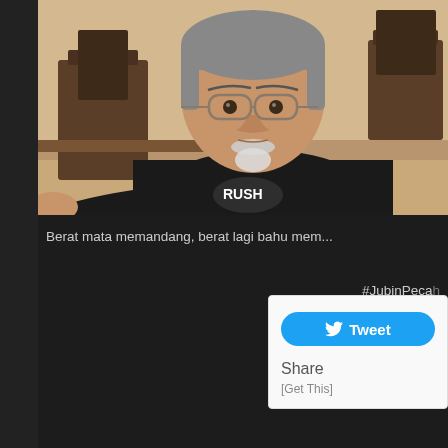[Figure (photo): Selfie of a middle-aged Southeast Asian man with grey hair pulled back, glasses, goatee, wearing a black t-shirt, seated in what appears to be a cafe or restaurant with wooden chairs and tables in the background.]
Berat mata memandang, berat lagi bahu mem...
#JubinPecah
[Figure (screenshot): Twitter share popup widget with a blue Tweet button and Share / [Get This] text below.]